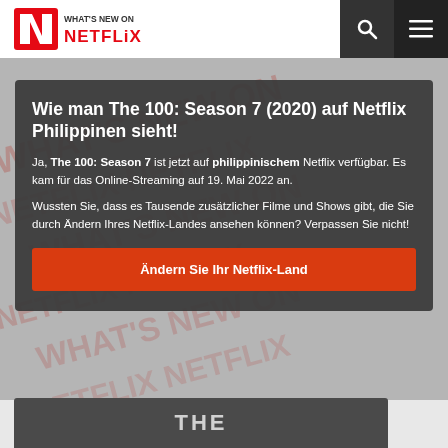[Figure (logo): What's New on Netflix logo with red N shield icon]
Wie man The 100: Season 7 (2020) auf Netflix Philippinen sieht!
Ja, The 100: Season 7 ist jetzt auf philippinischem Netflix verfügbar. Es kam für das Online-Streaming auf 19. Mai 2022 an.
Wussten Sie, dass es Tausende zusätzlicher Filme und Shows gibt, die Sie durch Ändern Ihres Netflix-Landes ansehen können? Verpassen Sie nicht!
Ändern Sie Ihr Netflix-Land
[Figure (screenshot): Partially visible bottom image card showing THE text]